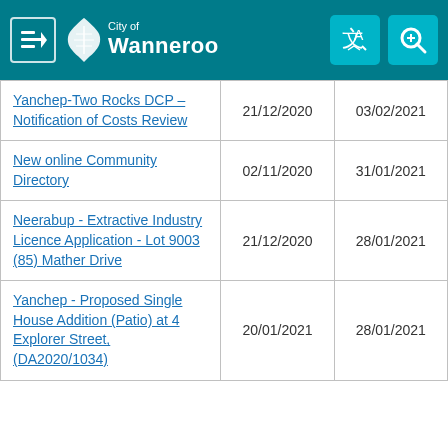City of Wanneroo
|  |  |  |
| --- | --- | --- |
| Yanchep-Two Rocks DCP – Notification of Costs Review | 21/12/2020 | 03/02/2021 |
| New online Community Directory | 02/11/2020 | 31/01/2021 |
| Neerabup - Extractive Industry Licence Application - Lot 9003 (85) Mather Drive | 21/12/2020 | 28/01/2021 |
| Yanchep - Proposed Single House Addition (Patio) at 4 Explorer Street, (DA2020/1034) | 20/01/2021 | 28/01/2021 |